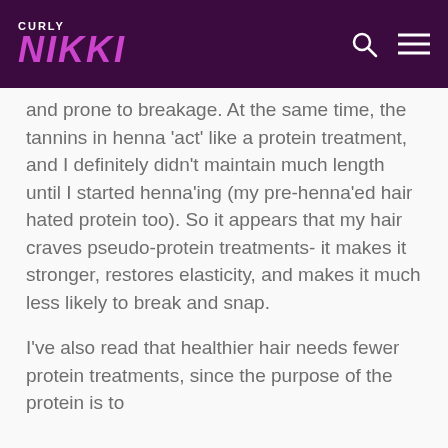CURLY NIKKI
and prone to breakage. At the same time, the tannins in henna 'act' like a protein treatment, and I definitely didn't maintain much length until I started henna'ing (my pre-henna'ed hair hated protein too). So it appears that my hair craves pseudo-protein treatments- it makes it stronger, restores elasticity, and makes it much less likely to break and snap.
I've also read that healthier hair needs fewer protein treatments, since the purpose of the protein is to